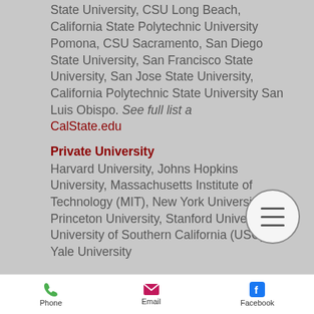State University, CSU Long Beach, California State Polytechnic University Pomona, CSU Sacramento, San Diego State University, San Francisco State University, San Jose State University, California Polytechnic State University San Luis Obispo. See full list a CalState.edu
Private University
Harvard University, Johns Hopkins University, Massachusetts Institute of Technology (MIT), New York University, Princeton University, Stanford University, University of Southern California (USC), Yale University
[Figure (photo): Blurred photo of a person, partially visible at bottom of screen]
Phone   Email   Facebook